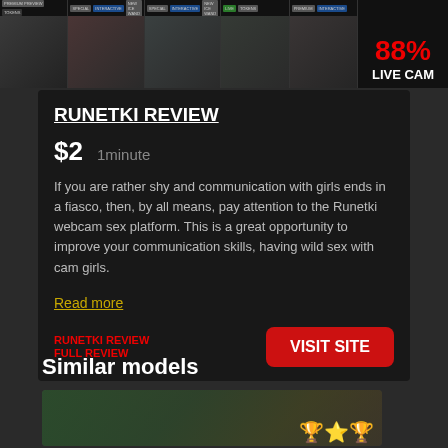[Figure (screenshot): Top banner with live cam thumbnails and 88% rating badge with LIVE CAM label]
RUNETKI REVIEW
$2   1minute
If you are rather shy and communication with girls ends in a fiasco, then, by all means, pay attention to the Runetki webcam sex platform. This is a great opportunity to improve your communication skills, having wild sex with cam girls.
Read more
RUNETKI REVIEW
FULL REVIEW
VISIT SITE
Similar models
[Figure (photo): Thumbnail of a model with emoji stars overlay]